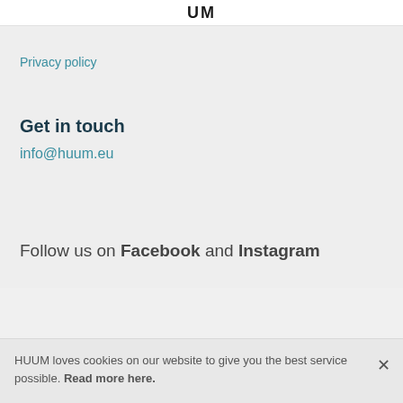UM
Privacy policy
Get in touch
info@huum.eu
Follow us on Facebook and Instagram
HUUM loves cookies on our website to give you the best service possible. Read more here.